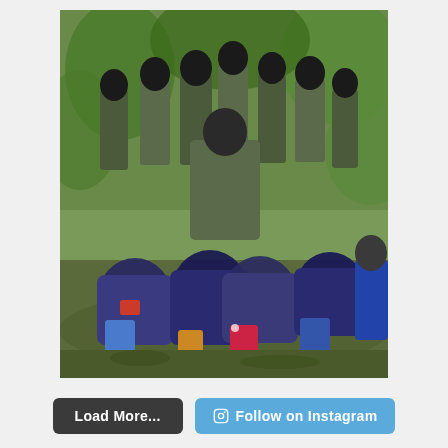[Figure (photo): A group of masked individuals in camouflage clothing standing over several people seated on the ground with dark hoods over their heads, in an outdoor wooded setting.]
Load More...
Follow on Instagram